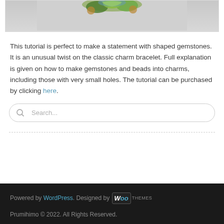[Figure (photo): Partial view of a jewelry piece with gemstones and beads on a gray background, cropped at the top of the image.]
This tutorial is perfect to make a statement with shaped gemstones. It is an unusual twist on the classic charm bracelet. Full explanation is given on how to make gemstones and beads into charms, including those with very small holes. The tutorial can be purchased by clicking here.
[Figure (screenshot): Search bar with magnifying glass icon and placeholder text 'Search...']
Powered by WordPress. Designed by WooThemes
Prumihimo © 2022. All Rights Reserved.